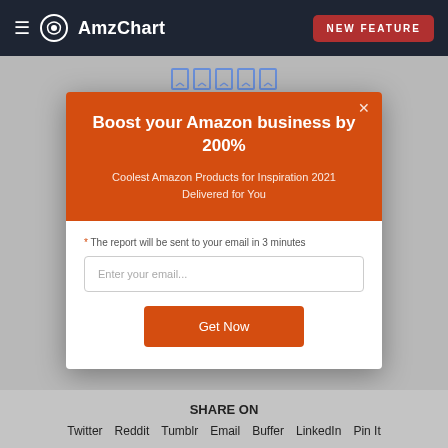AmzChart | NEW FEATURE
Boost your Amazon business by 200%
Coolest Amazon Products for Inspiration 2021 Delivered for You
* The report will be sent to your email in 3 minutes
Enter your email...
Get Now
SHARE ON
Twitter
Reddit
Tumblr
Email
Buffer
LinkedIn
Pin It